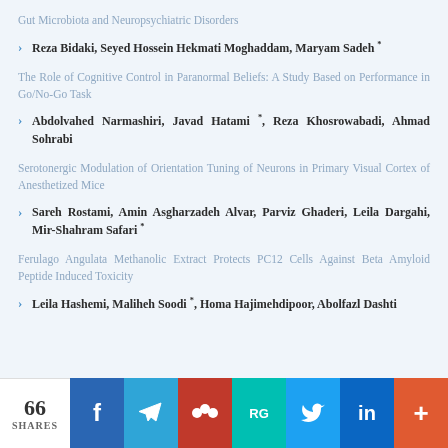Gut Microbiota and Neuropsychiatric Disorders
Reza Bidaki, Seyed Hossein Hekmati Moghaddam, Maryam Sadeh *
The Role of Cognitive Control in Paranormal Beliefs: A Study Based on Performance in Go/No-Go Task
Abdolvahed Narmashiri, Javad Hatami *, Reza Khosrowabadi, Ahmad Sohrabi
Serotonergic Modulation of Orientation Tuning of Neurons in Primary Visual Cortex of Anesthetized Mice
Sareh Rostami, Amin Asgharzadeh Alvar, Parviz Ghaderi, Leila Dargahi, Mir-Shahram Safari *
Ferulago Angulata Methanolic Extract Protects PC12 Cells Against Beta Amyloid Peptide Induced Toxicity
Leila Hashemi, Maliheh Soodi *, Homa Hajimehdipoor, Abolfazl Dashti
66 SHARES | f | telegram | Mendeley | RG | Twitter | in | +